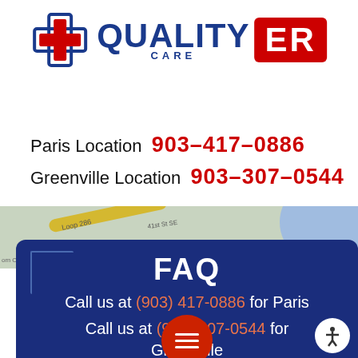[Figure (logo): Quality Care ER logo with a blue cross icon and red ER box]
Paris Location  903-417-0886
Greenville Location  903-307-0544
[Figure (map): Street map snippet showing Loop 286 and 41st St SE area with yellow road and blue shape on right]
FAQ
Call us at (903) 417-0886 for Paris
Call us at (903) 307-0544 for Greenville